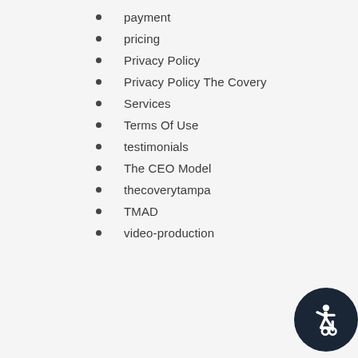payment
pricing
Privacy Policy
Privacy Policy The Covery
Services
Terms Of Use
testimonials
The CEO Model
thecoverytampa
TMAD
video-production
[Figure (illustration): Accessibility icon button — dark circular button with a wheelchair accessibility symbol in white]